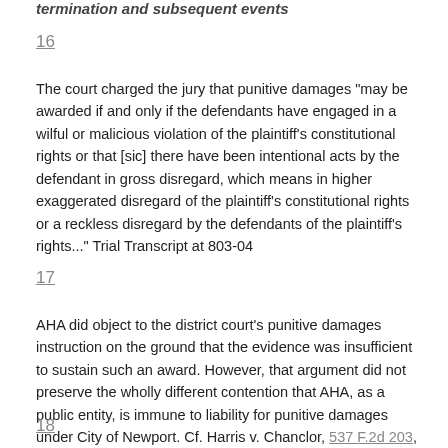termination and subsequent events
16
The court charged the jury that punitive damages "may be awarded if and only if the defendants have engaged in a wilful or malicious violation of the plaintiff's constitutional rights or that [sic] there have been intentional acts by the defendant in gross disregard, which means in higher exaggerated disregard of the plaintiff's constitutional rights or a reckless disregard by the defendants of the plaintiff's rights..." Trial Transcript at 803-04
17
AHA did object to the district court's punitive damages instruction on the ground that the evidence was insufficient to sustain such an award. However, that argument did not preserve the wholly different contention that AHA, as a public entity, is immune to liability for punitive damages under City of Newport. Cf. Harris v. Chanclor, 537 F.2d 203, 206 (5th Cir.1976); Black, 662 F.2d at 184 n. 4
18